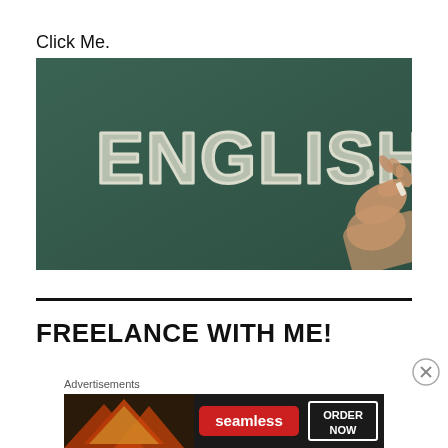Click Me.
[Figure (photo): Chalkboard with 'ENGLISH' written in chalk, hand holding chalk on right side]
FREELANCE WITH ME!
Advertisements
[Figure (infographic): Seamless food delivery advertisement banner showing pizza and 'ORDER NOW' button]